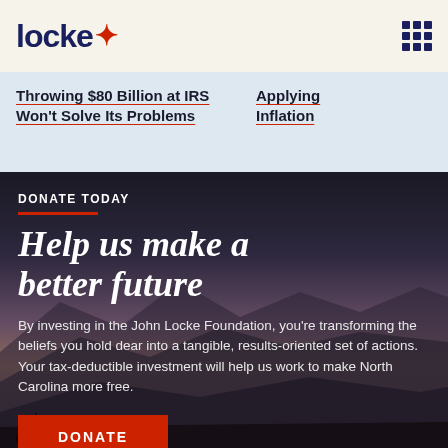locke
Throwing $80 Billion at IRS Won't Solve Its Problems
Applying Inflation
DONATE TODAY
Help us make a better future
By investing in the John Locke Foundation, you're transforming the beliefs you hold dear into a tangible, results-oriented set of actions. Your tax-deductible investment will help us work to make North Carolina more free.
DONATE